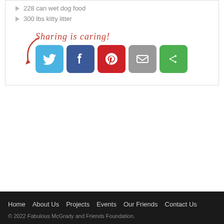228 can wet dog food
300 lbs kitty litter
[Figure (infographic): Sharing is caring! social share buttons for Twitter, Facebook, Pinterest, Email, and a green share button with arrow/recycle icon, with decorative cursive red text and red arrow]
Home   About Us   Projects   Events   Our Friends   Contact Us
© 2022 Fabulous McGrady and Friends Foundation.